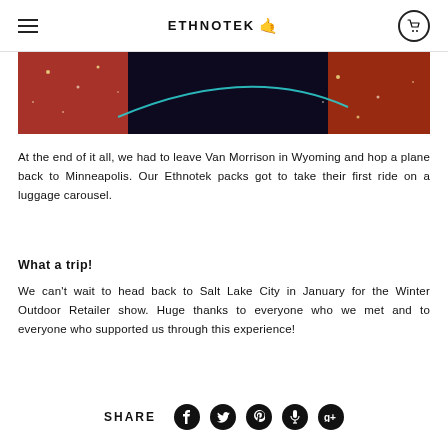ETHNOTEK
[Figure (photo): Close-up photo of backpack panel with red/orange textured fabric and dark background with a teal/turquoise accent line]
At the end of it all, we had to leave Van Morrison in Wyoming and hop a plane back to Minneapolis. Our Ethnotek packs got to take their first ride on a luggage carousel.
What a trip!
We can't wait to head back to Salt Lake City in January for the Winter Outdoor Retailer show. Huge thanks to everyone who we met and to everyone who supported us through this experience!
SHARE